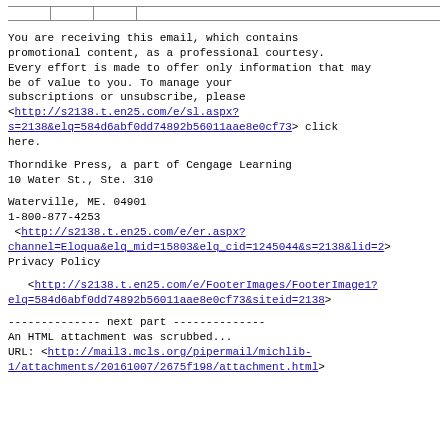You are receiving this email, which contains promotional content, as a professional courtesy. Every effort is made to offer only information that may be of value to you. To manage your subscriptions or unsubscribe, please <http://s2138.t.en25.com/e/sl.aspx?s=2138&elq=584d6abf0dd74892b56011aae8e0cf73> click here.
Thorndike Press, a part of Cengage Learning
10 Water St., Ste. 310
Waterville, ME. 04901
1-800-877-4253
 <http://s2138.t.en25.com/e/er.aspx?channel=Eloqua&elq_mid=15803&elq_cid=1245044&s=2138&lid=2>
Privacy Policy
<http://s2138.t.en25.com/e/FooterImages/FooterImage1?elq=584d6abf0dd74892b56011aae8e0cf73&siteid=2138>
-------------- next part --------------
An HTML attachment was scrubbed...
URL: <http://mail3.mcls.org/pipermail/michlib-1/attachments/20161007/2675f198/attachment.html>